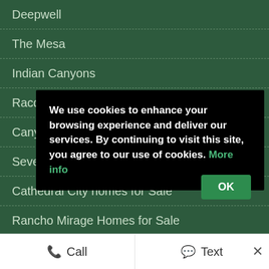Deepwell
The Mesa
Indian Canyons
Racquet Club Garden Villas
Canyon View Estates
Seven Lakes Country Club
Cathedral City homes for Sale
Rancho Mirage Homes for Sale
Palm Desert homes for Sale
Indian ...
La Qu...
About...
Alex D...
We use cookies to enhance your browsing experience and deliver our services. By continuing to visit this site, you agree to our use of cookies. More info
OK
Call
Text
×